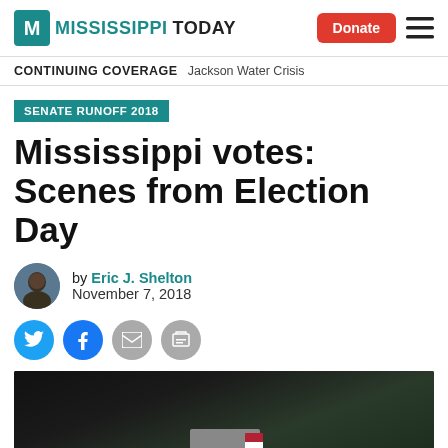Mississippi Today — Donate
CONTINUING COVERAGE   Jackson Water Crisis
SENATE RUNOFF 2018
Mississippi votes: Scenes from Election Day
by Eric J. Shelton
November 7, 2018
[Figure (photo): Dark photo showing a voting desk area with an American flag in the background, outdoors or near a polling location.]